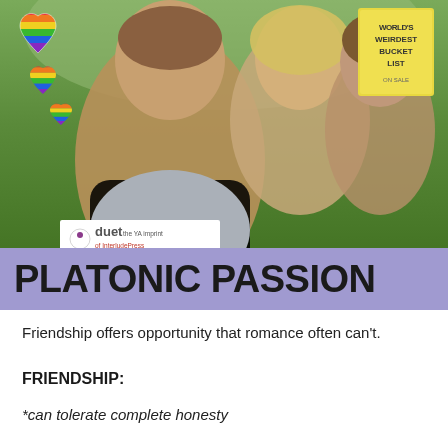[Figure (photo): Three smiling young adults outdoors in a park setting. Rainbow heart stickers overlaid top-left. Yellow book badge top-right. Duet press logo bottom-left. Purple/lavender banner with bold text 'PLATONIC PASSION' overlaid at bottom.]
PLATONIC PASSION
Friendship offers opportunity that romance often can't.
FRIENDSHIP:
*can tolerate complete honesty